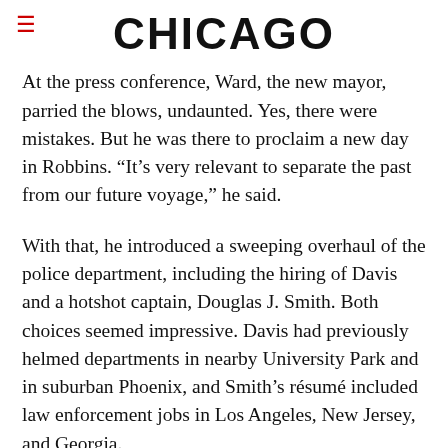CHICAGO
At the press conference, Ward, the new mayor, parried the blows, undaunted. Yes, there were mistakes. But he was there to proclaim a new day in Robbins. “It’s very relevant to separate the past from our future voyage,” he said.
With that, he introduced a sweeping overhaul of the police department, including the hiring of Davis and a hotshot captain, Douglas J. Smith. Both choices seemed impressive. Davis had previously helmed departments in nearby University Park and in suburban Phoenix, and Smith’s résumé included law enforcement jobs in Los Angeles, New Jersey, and Georgia.